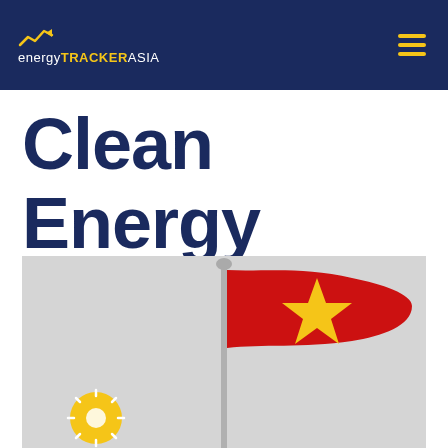energy TRACKER ASIA
Clean Energy
[Figure (photo): Vietnamese national flag (red background with yellow star) on a pole against a grey sky, with a yellow sun icon badge in the lower left corner]